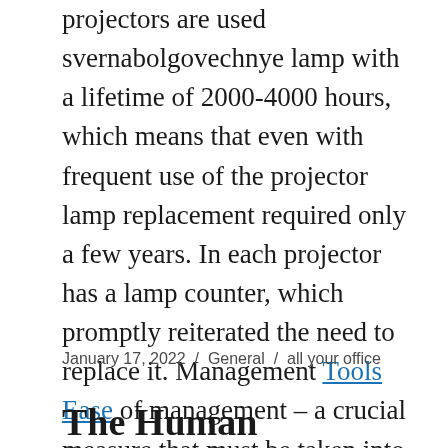projectors are used svernabolgovechnye lamp with a lifetime of 2000-4000 hours, which means that even with frequent use of the projector lamp replacement required only a few years. In each projector has a lamp counter, which promptly reiterated the need to replace it. Management Tools Ease of management – a crucial measure that must be taken into consideration when choosing multimedia projector. The primary means of controlling the projector is an infrared remote control that comes with each model.
January 17, 2022 / General / all your office
The Human